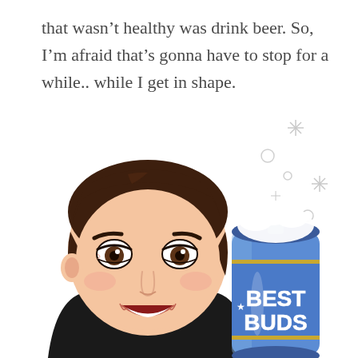that wasn't healthy was drink beer. So, I'm afraid that's gonna have to stop for a while.. while I get in shape.
[Figure (illustration): Bitmoji-style cartoon avatar of a person with short brown hair, wearing a black hoodie, smiling and holding up a blue beer can labeled 'BEST BUDS' with foam coming out the top and sparkle/bubble effects around it.]